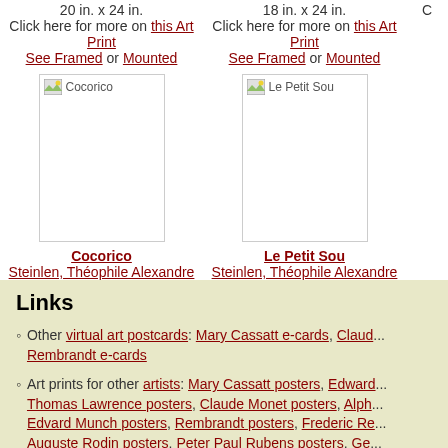20 in. x 24 in.
Click here for more on this Art Print
See Framed or Mounted
18 in. x 24 in.
Click here for more on this Art Print
See Framed or Mounted
C...
[Figure (illustration): Placeholder image for Cocorico art print]
[Figure (illustration): Placeholder image for Le Petit Sou art print]
Cocorico
Steinlen, Théophile Alexandre
18 in. x 24 in.
Click here for more on this Art Print
See Framed or Mounted
Le Petit Sou
Steinlen, Théophile Alexandre
18 in. x 24 in.
Click here for more on this Canvas Transfer
Links
Other virtual art postcards: Mary Cassatt e-cards, Claud... Rembrandt e-cards
Art prints for other artists: Mary Cassatt posters, Edward... Thomas Lawrence posters, Claude Monet posters, Alph... Edvard Munch posters, Rembrandt posters, Frederic Re... Auguste Rodin posters, Peter Paul Rubens posters, Ge... Vincent van Gogh posters, J.W. Waterhouse posters...